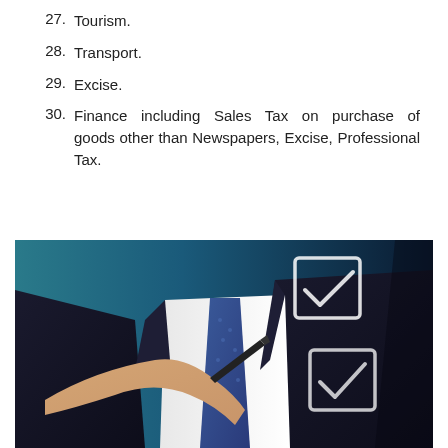27. Tourism.
28. Transport.
29. Excise.
30. Finance including Sales Tax on purchase of goods other than Newspapers, Excise, Professional Tax.
[Figure (photo): A businessman in a dark suit and blue tie holding a pen and drawing checkboxes on a transparent surface, with two checkmarks visible.]